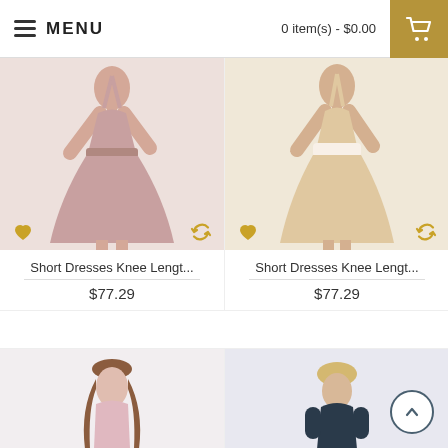MENU   0 item(s) - $0.00
[Figure (photo): Pink/blush halter-neck knee-length short dress on a female model, with heart and refresh icons below]
Short Dresses Knee Lengt...
$77.29
[Figure (photo): Champagne/peach halter-neck knee-length short dress on a female model, with heart and refresh icons below]
Short Dresses Knee Lengt...
$77.29
[Figure (photo): Light pink sleeveless dress on a female model, partially visible at bottom of page]
[Figure (photo): Dark navy long-sleeve dress on a female model, partially visible at bottom of page]